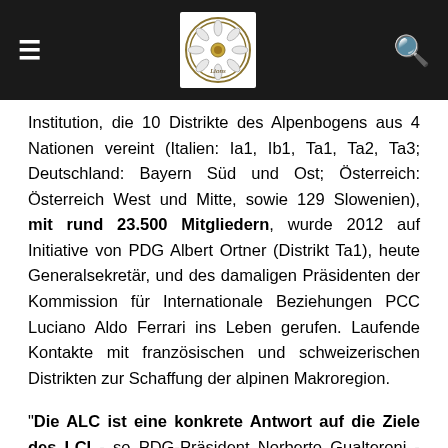Navigation header with hamburger menu, Lions Club International logo, and search icon
Institution, die 10 Distrikte des Alpenbogens aus 4 Nationen vereint (Italien: Ia1, Ib1, Ta1, Ta2, Ta3; Deutschland: Bayern Süd und Ost; Österreich: Österreich West und Mitte, sowie 129 Slowenien), mit rund 23.500 Mitgliedern, wurde 2012 auf Initiative von PDG Albert Ortner (Distrikt Ta1), heute Generalsekretär, und des damaligen Präsidenten der Kommission für Internationale Beziehungen PCC Luciano Aldo Ferrari ins Leben gerufen. Laufende Kontakte mit französischen und schweizerischen Distrikten zur Schaffung der alpinen Makroregion.
"Die ALC ist eine konkrete Antwort auf die Ziele des LCI - so PDG-Präsident Norberto Gualteroni - wollte eine gemeinsame Plattform auf europäischer Ebene aufbauen, um die Vereinigung der Lions durch gemeinsame Dienstleistungen und den Austausch von Ideen und Initiativen zu fördern. Es ist ein internationales